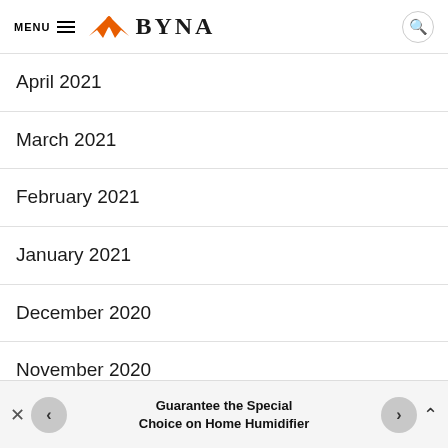MENU BYNA
April 2021
March 2021
February 2021
January 2021
December 2020
November 2020
Guarantee the Special Choice on Home Humidifier